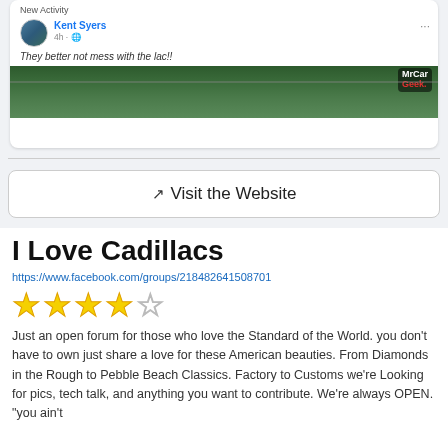[Figure (screenshot): Facebook post screenshot showing 'New Activity', user Kent Syers posting 'They better not mess with the lac!!' with MrCarGeek logo overlay on a car/forest image]
Visit the Website
I Love Cadillacs
https://www.facebook.com/groups/218482641508701
[Figure (infographic): 4 out of 5 stars rating]
Just an open forum for those who love the Standard of the World. you don't have to own just share a love for these American beauties. From Diamonds in the Rough to Pebble Beach Classics. Factory to Customs we're Looking for pics, tech talk, and anything you want to contribute. We're always OPEN. "you ain't